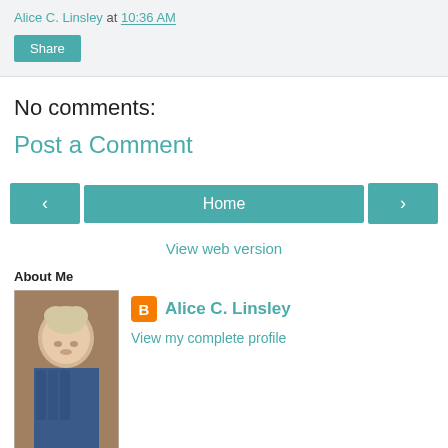Alice C. Linsley at 10:36 AM
Share
No comments:
Post a Comment
< Home >
View web version
About Me
[Figure (photo): Profile photo of Alice C. Linsley, a person with short blonde hair]
Alice C. Linsley
View my complete profile
Powered by Blogger.